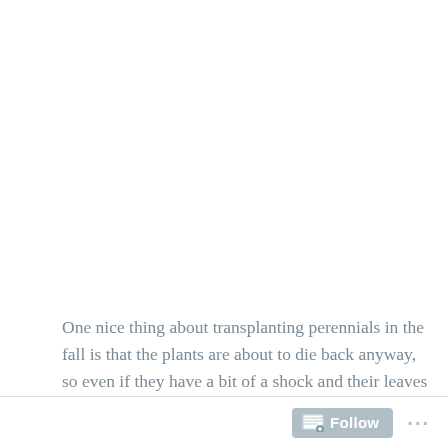One nice thing about transplanting perennials in the fall is that the plants are about to die back anyway, so even if they have a bit of a shock and their leaves struggle or wither, they're likely to come back in the
Follow ···